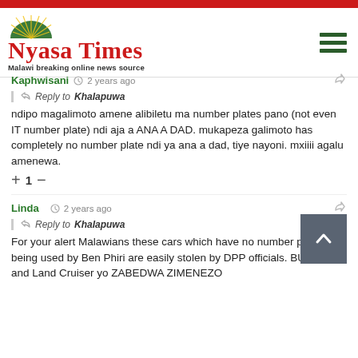Nyasa Times — Malawi breaking online news source
Kaphwisani · 2 years ago · Reply to Khalapuwa · ndipo magalimoto amene alibiletu ma number plates pano (not even IT number plate) ndi aja a ANA A DAD. mukapeza galimoto has completely no number plate ndi ya ana a dad, tiye nayoni. mxiiii agalu amenewa. +1-
Linda · 2 years ago · Reply to Khalapuwa · For your alert Malawians these cars which have no number plates being used by Ben Phiri are easily stolen by DPP officials. BU 6946 and Land Cruiser yo ZABEDWA ZIMENEZO